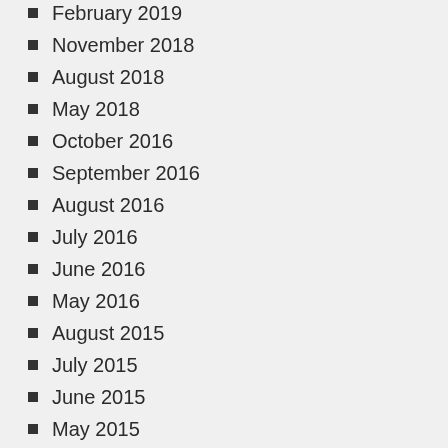February 2019
November 2018
August 2018
May 2018
October 2016
September 2016
August 2016
July 2016
June 2016
May 2016
August 2015
July 2015
June 2015
May 2015
April 2015
March 2015
February 2015
January 2015
December 2014
November 2014